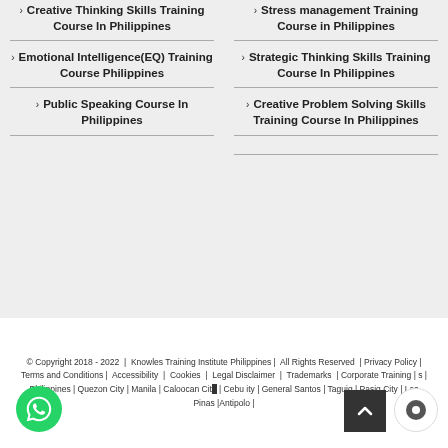Creative Thinking Skills Training Course In Philippines
Emotional Intelligence(EQ) Training Course Philippines
Public Speaking Course In Philippines
Stress management Training Course in Philippines
Strategic Thinking Skills Training Course In Philippines
Creative Problem Solving Skills Training Course In Philippines
© Copyright 2018 - 2022  |  Knowles Training Institute Philippines |  All Rights Reserved  | Privacy Policy | Terms and Conditions |  Accessibility  |  Cookies  |  Legal Disclaimer  |  Trademarks  | Corporate Training | s | Philippines | Quezon City | Manila | Caloocan City | o | Cebu ity | General Santos | Taguig | Pasig City | Las Pinas | Antipolo |